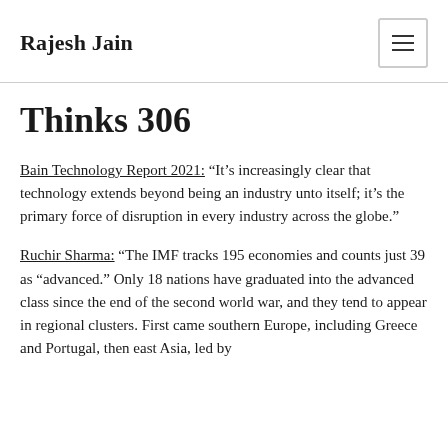Rajesh Jain
Thinks 306
Bain Technology Report 2021: “It’s increasingly clear that technology extends beyond being an industry unto itself; it’s the primary force of disruption in every industry across the globe.”
Ruchir Sharma: “The IMF tracks 195 economies and counts just 39 as “advanced.” Only 18 nations have graduated into the advanced class since the end of the second world war, and they tend to appear in regional clusters. First came southern Europe, including Greece and Portugal, then east Asia, led by